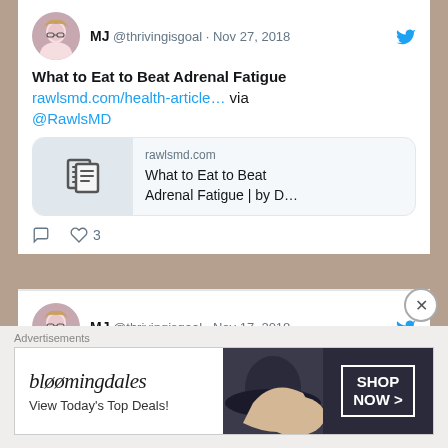[Figure (screenshot): Tweet by MJ @thrivingisgoal dated Nov 27, 2018: 'What to Eat to Beat Adrenal Fatigue rawlsmd.com/health-article... via @RawlsMD' with a link card showing rawlsmd.com and title 'What to Eat to Beat Adrenal Fatigue | by D...' and 3 likes]
[Figure (screenshot): Tweet by MJ @thrivingisgoal dated Nov 17, 2018: 'What Happy People Do Differently | Psychology Today']
[Figure (screenshot): Bloomingdale's advertisement banner: 'View Today's Top Deals!' with SHOP NOW button]